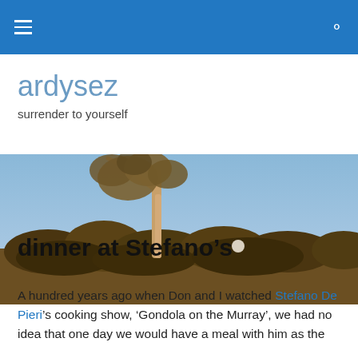≡  🔍
ardysez
surrender to yourself
[Figure (photo): Landscape photograph showing Australian outback scrub with a gum tree against a blue sky and a full moon visible in the distance]
dinner at Stefano's
A hundred years ago when Don and I watched Stefano De Pieri's cooking show, 'Gondola on the Murray', we had no idea that one day we would have a meal with him as the